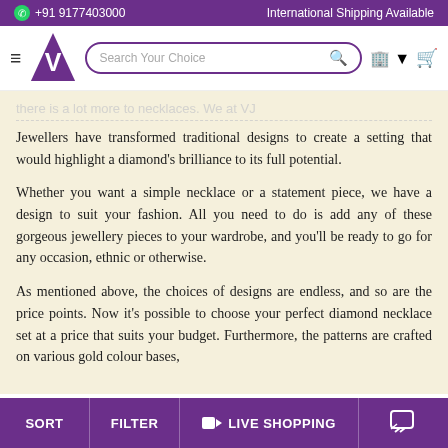+91 9177403000 | International Shipping Available
[Figure (logo): VJ jewellers logo with purple triangle and V shape, hamburger menu, search bar, coin and cart icons]
Jewellers have transformed traditional designs to create a setting that would highlight a diamond's brilliance to its full potential.
Whether you want a simple necklace or a statement piece, we have a design to suit your fashion. All you need to do is add any of these gorgeous jewellery pieces to your wardrobe, and you'll be ready to go for any occasion, ethnic or otherwise.
As mentioned above, the choices of designs are endless, and so are the price points. Now it's possible to choose your perfect diamond necklace set at a price that suits your budget. Furthermore, the patterns are crafted on various gold colour bases,
SORT | FILTER | LIVE SHOPPING | (chat icon)